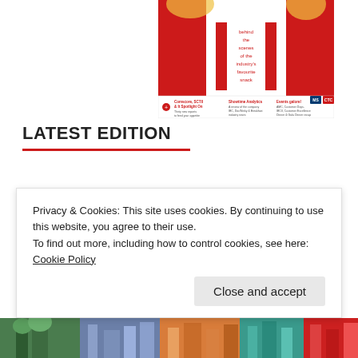[Figure (illustration): Magazine cover image showing a red and white design with text 'behind the scenes of the industry's favourite snack', with sections for Comscore, SCTII, Showtime Analytics, and Events galore]
LATEST EDITION
ADS
[Figure (illustration): Partial view of large orange letters partially visible before cookie banner]
Privacy & Cookies: This site uses cookies. By continuing to use this website, you agree to their use.
To find out more, including how to control cookies, see here: Cookie Policy
[Figure (illustration): Colorful illustrated strip at the bottom of the page showing city landmarks]